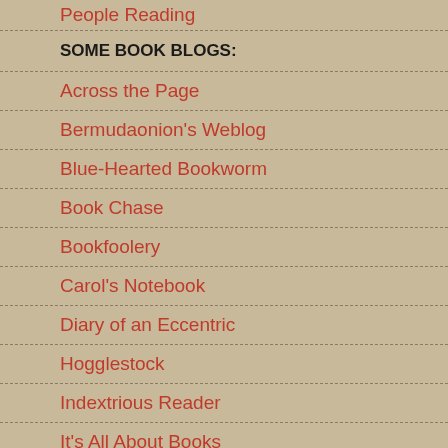People Reading
SOME BOOK BLOGS:
Across the Page
Bermudaonion's Weblog
Blue-Hearted Bookworm
Book Chase
Bookfoolery
Carol's Notebook
Diary of an Eccentric
Hogglestock
Indextrious Reader
It's All About Books
James Reads Books
Kawai Reader